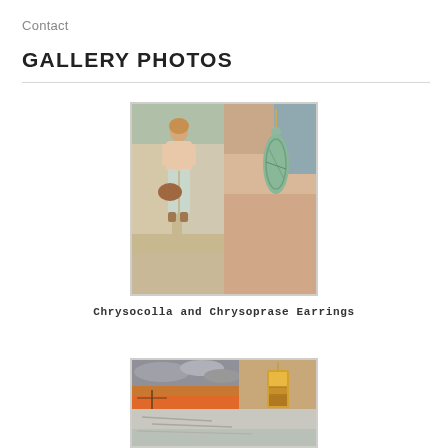Contact
GALLERY PHOTOS
[Figure (photo): Two-panel image: left panel shows a woman in light pink top, mint jeans, and brown handbag; right panel shows a close-up of a mint/teal stone earring with small bead at top.]
Chrysocolla and Chrysoprase Earrings
[Figure (photo): Composite photo frame showing a landscape with dramatic cloudy sky over an orange/red field (left top), a rectangular earring with warm tones (right top), and partial bottom image of what appears to be another landscape or detail.]